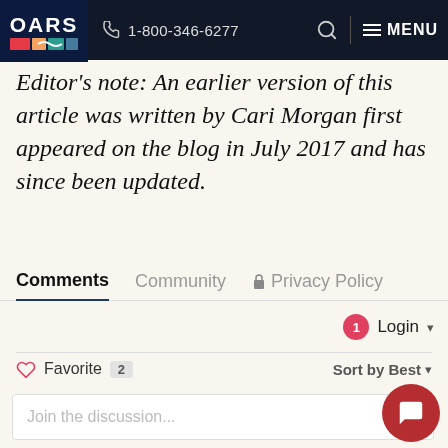OARS | 1-800-346-6277 | MENU
Editor's note: An earlier version of this article was written by Cari Morgan first appeared on the blog in July 2017 and has since been updated.
Comments  Community  Privacy Policy
Login ▾
♡ Favorite 2   Sort by Best ▾
Join the discussion...